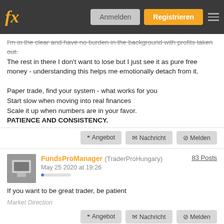fx | Anmelden | Registrieren
I'm in the clear and have no burden in the background with profits taken out. The rest in there I don't want to lose but I just see it as pure free money - understanding this helps me emotionally detach from it.

Paper trade, find your system - what works for you
Start slow when moving into real finances
Scale it up when numbers are in your favor.
PATIENCE AND CONSISTENCY.
Angebot | Nachricht | Melden
FundsProManager (TraderProHungary) | 83 Posts | May 25 2020 at 19:26
If you want to be great trader, be patient
Market Direction
Angebot | Nachricht | Melden
jonny99 | 32 Posts | May 26 2020 at 11:13